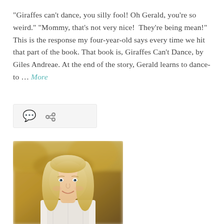“Giraffes can’t dance, you silly fool! Oh Gerald, you’re so weird.” “Mommy, that’s not very nice!  They’re being mean!” This is the response my four-year-old says every time we hit that part of the book. That book is, Giraffes Can’t Dance, by Giles Andreae. At the end of the story, Gerald learns to dance- to … More
[Figure (other): Icon bar with comment bubble and share/link icons on a light grey background]
[Figure (photo): Portrait photo of a smiling young blonde woman in a white lace sleeveless top, outdoors with blurred autumn foliage background]